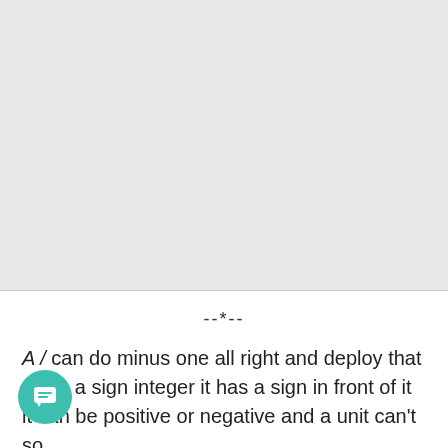[Figure (other): Large gray rectangular area occupying upper portion of the page]
--*--
A / can do minus one all right and deploy that that’s a sign integer it has a sign in front of it it can be positive or negative and a unit can’t so .